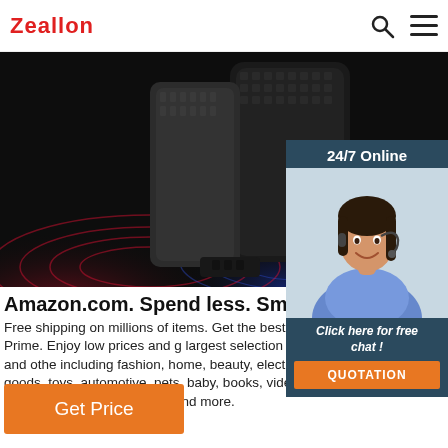Zeallon
[Figure (photo): Dark product photo showing a rugged phone case with textured surface, red and blue wave-like lighting on a dark background]
[Figure (photo): 24/7 Online chat widget showing a smiling woman with a headset, with 'Click here for free chat!' text and an orange QUOTATION button]
Amazon.com. Spend less. Smile more.
Free shipping on millions of items. Get the best of Shopping and Entertainment with Prime. Enjoy low prices and great deals on the largest selection of everyday essentials and other products, including fashion, home, beauty, electronics, Alexa Devices, sporting goods, toys, automotive, pets, baby, books, video games, musical instruments, office supplies, and more.
Get Price